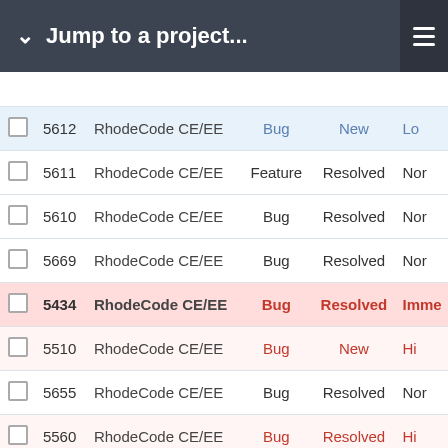Jump to a project...
|  | # | Project | Type | Status | Priority |
| --- | --- | --- | --- | --- | --- |
|  | 5612 | RhodeCode CE/EE | Bug | New | Lo |
|  | 5611 | RhodeCode CE/EE | Feature | Resolved | Nor |
|  | 5610 | RhodeCode CE/EE | Bug | Resolved | Nor |
|  | 5669 | RhodeCode CE/EE | Bug | Resolved | Nor |
|  | 5434 | RhodeCode CE/EE | Bug | Resolved | Imme |
|  | 5510 | RhodeCode CE/EE | Bug | New | Hi |
|  | 5655 | RhodeCode CE/EE | Bug | Resolved | Nor |
|  | 5560 | RhodeCode CE/EE | Bug | Resolved | Hi |
|  | 5656 | RhodeCode CE/EE | Bug | Resolved | Nor |